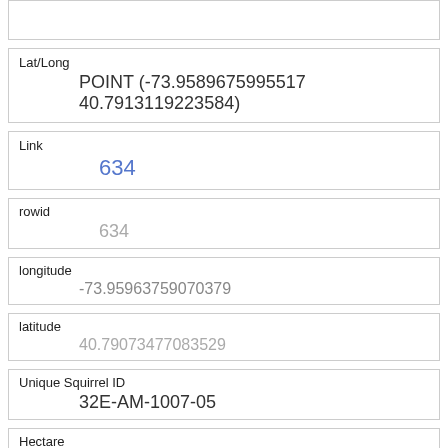| Field | Value |
| --- | --- |
| Lat/Long | POINT (-73.9589675995517 40.7913119223584) |
| Link | 634 |
| rowid | 634 |
| longitude | -73.95963759070379 |
| latitude | 40.79073477083529 |
| Unique Squirrel ID | 32E-AM-1007-05 |
| Hectare | 32E |
| Shift | AM |
| Date | 10072018 |